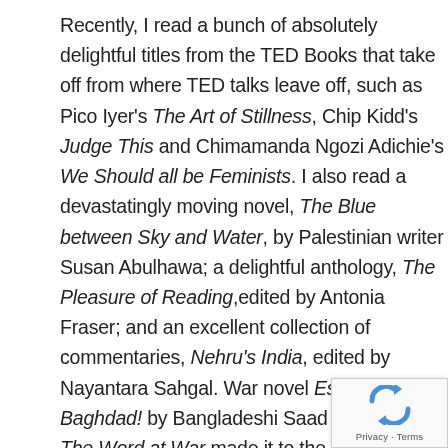Recently, I read a bunch of absolutely delightful titles from the TED Books that take off from where TED talks leave off, such as Pico Iyer's The Art of Stillness, Chip Kidd's Judge This and Chimamanda Ngozi Adichie's We Should all be Feminists. I also read a devastatingly moving novel, The Blue between Sky and Water, by Palestinian writer Susan Abulhawa; a delightful anthology, The Pleasure of Reading,edited by Antonia Fraser; and an excellent collection of commentaries, Nehru's India, edited by Nayantara Sahgal. War novel Escape from Baghdad! by Bangladeshi Saad Hossain and The Word at War made it to the list. When I discuss these books animatedly with friends, many automatically order these online. This change in human behaviour has affected the lifeline of bookstores...
[Figure (other): reCAPTCHA widget with rotating arrows logo and Privacy · Terms text]